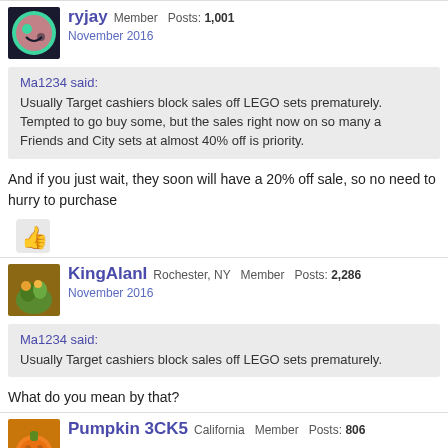ryjay Member Posts: 1,001 November 2016
Ma1234 said: Usually Target cashiers block sales off LEGO sets prematurely. Tempted to go buy some, but the sales right now on so many a Friends and City sets at almost 40% off is priority.
And if you just wait, they soon will have a 20% off sale, so no need to hurry to purchase
[Figure (illustration): Thumbs up emoji/reaction icon]
KingAlanI Rochester, NY Member Posts: 2,286 November 2016
Ma1234 said: Usually Target cashiers block sales off LEGO sets prematurely.
What do you mean by that?
Pumpkin 3CK5 California Member Posts: 806